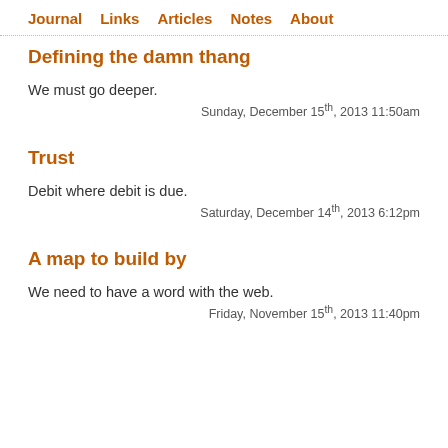Journal   Links   Articles   Notes   About
Defining the damn thang
We must go deeper.
Sunday, December 15th, 2013 11:50am
Trust
Debit where debit is due.
Saturday, December 14th, 2013 6:12pm
A map to build by
We need to have a word with the web.
Friday, November 15th, 2013 11:40pm